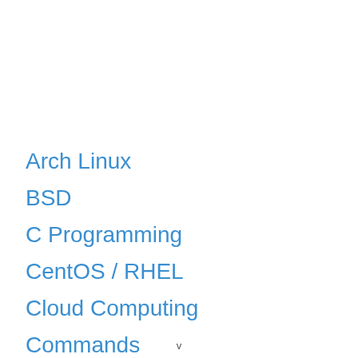Arch Linux
BSD
C Programming
CentOS / RHEL
Cloud Computing
Commands
v